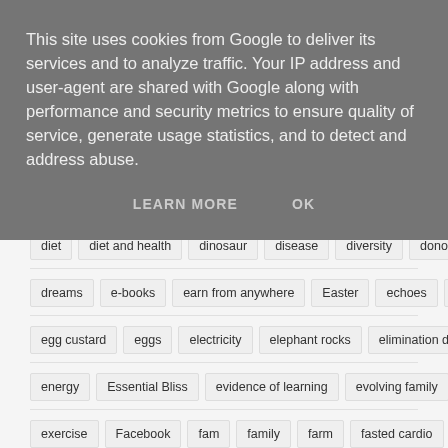This site uses cookies from Google to deliver its services and to analyze traffic. Your IP address and user-agent are shared with Google along with performance and security metrics to ensure quality of service, generate usage statistics, and to detect and address abuse.
LEARN MORE   OK
diet   diet and health   dinosaur   disease   diversity   donor dad
dreams   e-books   earn from anywhere   Easter   echoes   education
egg custard   eggs   electricity   elephant rocks   elimination diet
energy   Essential Bliss   evidence of learning   evolving family
exercise   Facebook   fam   family   farm   fasted cardio   fasting
fatigue   fence   fertility   fibromyalgia   fire   firewalking
First Birthday   Fish   fitness   flapjacks   Flowers   focus   food
fostering   freezer   friends   Frost   Games   garden